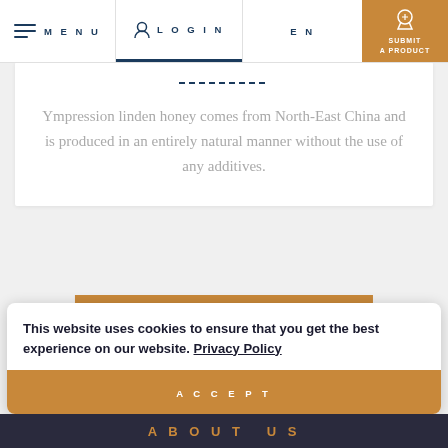MENU  LOGIN  EN  SUBMIT A PRODUCT
Ympression linden honey comes from North-East China and is produced in an entirely natural manner without the use of any additives.
ALL ARTICLES
This website uses cookies to ensure that you get the best experience on our website. Privacy Policy
ACCEPT
ABOUT US